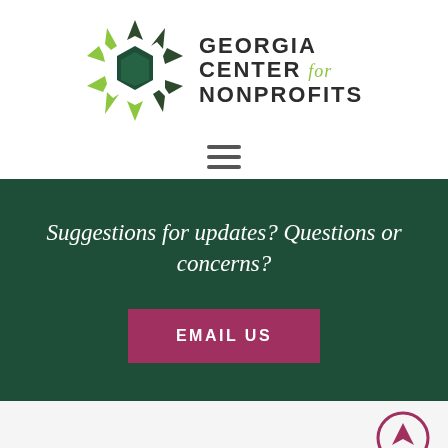[Figure (logo): Georgia Center for Nonprofits logo with star-shaped green and dark green icon and text]
[Figure (other): Hamburger menu icon (three horizontal lines)]
Suggestions for updates? Questions or concerns?
EMAIL US
[Figure (other): Scroll-to-top circular arrow button]
Thank you to our supporters: